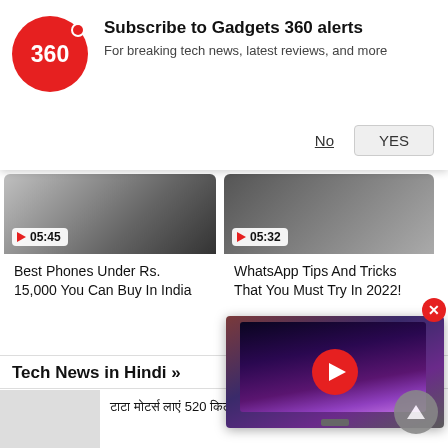[Figure (screenshot): Gadgets 360 subscription notification banner with red circular logo showing '360', title 'Subscribe to Gadgets 360 alerts', subtitle 'For breaking tech news, latest reviews, and more', with 'No' and 'YES' buttons]
[Figure (screenshot): Video card thumbnail with time badge showing 05:45, titled 'Best Phones Under Rs. 15,000 You Can Buy In India']
Best Phones Under Rs. 15,000 You Can Buy In India
[Figure (screenshot): Video card thumbnail with time badge showing 05:32, titled 'WhatsApp Tips And Tricks That You Must Try In 2022!']
WhatsApp Tips And Tricks That You Must Try In 2022!
Tech News in Hindi »
टाटा मोटर्स लाएं 520 किलोमीटर electric MPV जल्द
50MP कैमरा, 5000mAh बैटरी के साथ आया Samsung Galaxy A04s
[Figure (screenshot): Floating video player showing a TV displaying a galaxy/space image, with a red play button overlay and a red close (X) button]